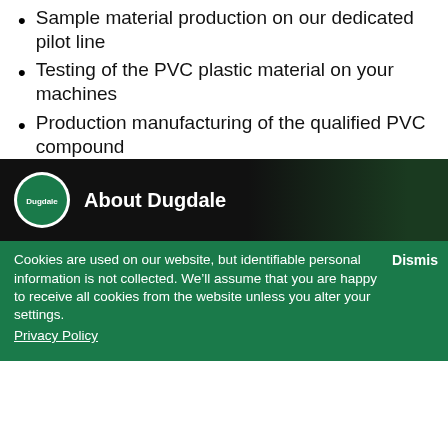Sample material production on our dedicated pilot line
Testing of the PVC plastic material on your machines
Production manufacturing of the qualified PVC compound
Scheduling and logistics support
To learn more about Dugdale as a PVC compound supplier and the technical expertise we bring to our customers, please watch our “behind the scenes” video and give us a call so that we can talk through your PVC compound requirements with you.
[Figure (screenshot): YouTube-style video thumbnail showing Dugdale logo and title 'About Dugdale' on dark background]
Cookies are used on our website, but identifiable personal information is not collected. We’ll assume that you are happy to receive all cookies from the website unless you alter your settings. Privacy Policy  Dismiss